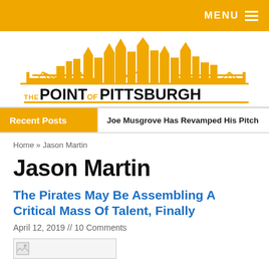MENU
[Figure (logo): The Point of Pittsburgh logo with Pittsburgh skyline in gold and black text]
Recent Posts   Joe Musgrove Has Revamped His Pitch
Home » Jason Martin
Jason Martin
The Pirates May Be Assembling A Critical Mass Of Talent, Finally
April 12, 2019 // 10 Comments